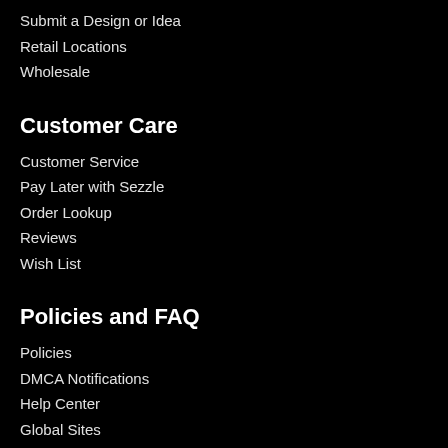Submit a Design or Idea
Retail Locations
Wholesale
Customer Care
Customer Service
Pay Later with Sezzle
Order Lookup
Reviews
Wish List
Policies and FAQ
Policies
DMCA Notifications
Help Center
Global Sites
Get Swishmail!
Sign up to get the latest on sales, new releases and more …